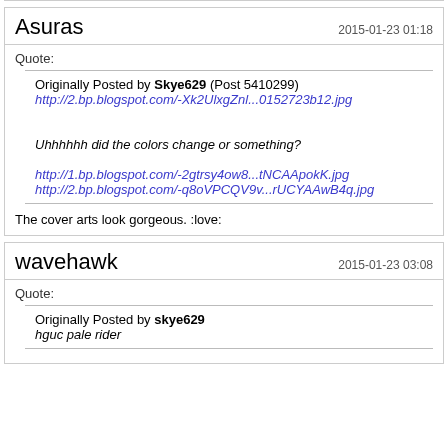Asuras
2015-01-23 01:18
Quote:
Originally Posted by Skye629 (Post 5410299)
http://2.bp.blogspot.com/-Xk2UlxgZnl...0152723b12.jpg
Uhhhhhh did the colors change or something?

http://1.bp.blogspot.com/-2gtrsy4ow8...tNCAApokK.jpg
http://2.bp.blogspot.com/-q8oVPCQV9v...rUCYAAwB4q.jpg
The cover arts look gorgeous. :love:
wavehawk
2015-01-23 03:08
Quote:
Originally Posted by skye629
hguc pale rider